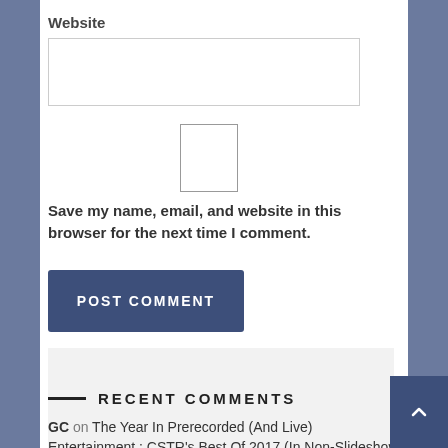Website
[Figure (other): Text input field for website URL]
[Figure (other): Checkbox (unchecked)]
Save my name, email, and website in this browser for the next time I comment.
POST COMMENT
RECENT COMMENTS
GC on The Year In Prerecorded (And Live) Entertainment : CSTR's Best Of 2017 (In Non-Slideshow